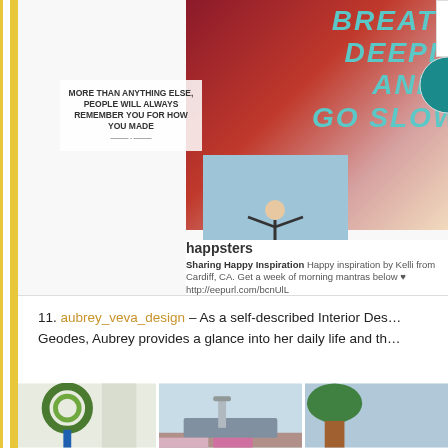[Figure (screenshot): Screenshot of a Pinterest/social media profile for 'happsters' showing an inspirational quote card with flowers and text 'More than anything else, people will always remember you for how you made them feel', a person jumping photo, a Following button, and to the right a teal inspirational graphic saying 'Breathe Deeply and Go Slowly']
11. aubrey_veva_design – As a self-described Interior Des... Geodes, Aubrey provides a glance into her daily life and th...
[Figure (photo): Three photos from aubrey_veva_design Instagram: a floral wreath by a window, a kitchen sink, and a partial third image]